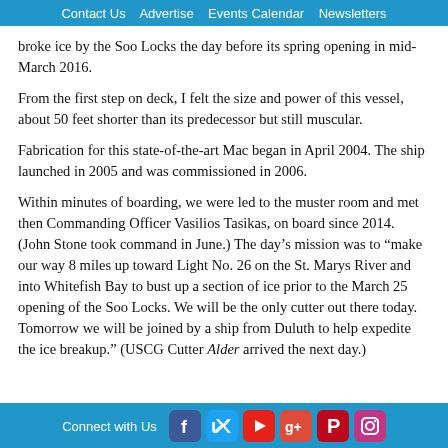Contact Us   Advertise   Events Calendar   Newsletters
broke ice by the Soo Locks the day before its spring opening in mid-March 2016.
From the first step on deck, I felt the size and power of this vessel, about 50 feet shorter than its predecessor but still muscular.
Fabrication for this state-of-the-art Mac began in April 2004. The ship launched in 2005 and was commissioned in 2006.
Within minutes of boarding, we were led to the muster room and met then Commanding Officer Vasilios Tasikas, on board since 2014. (John Stone took command in June.) The day’s mission was to “make our way 8 miles up toward Light No. 26 on the St. Marys River and into Whitefish Bay to bust up a section of ice prior to the March 25 opening of the Soo Locks. We will be the only cutter out there today. Tomorrow we will be joined by a ship from Duluth to help expedite the ice breakup.” (USCG Cutter Alder arrived the next day.)
Connect with Us